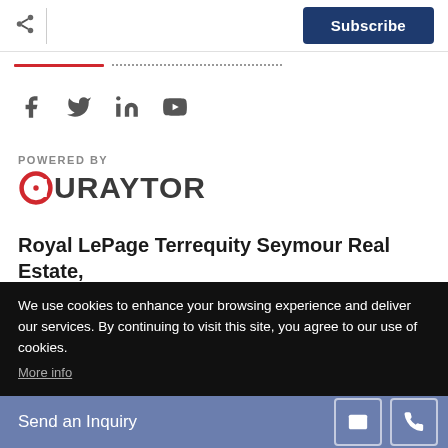[Figure (logo): Share icon and Subscribe button in top navigation bar]
[Figure (infographic): Tab underline row with red active indicator and dotted line]
[Figure (infographic): Social media icons: Facebook, Twitter, LinkedIn, YouTube]
POWERED BY
[Figure (logo): Curaytor logo with red C icon and dark grey URAYTOR text]
Royal LePage Terrequity Seymour Real Estate, Brokerage
We use cookies to enhance your browsing experience and deliver our services. By continuing to visit this site, you agree to our use of cookies. More info
[Figure (infographic): Send an Inquiry action bar with email and phone icon buttons]